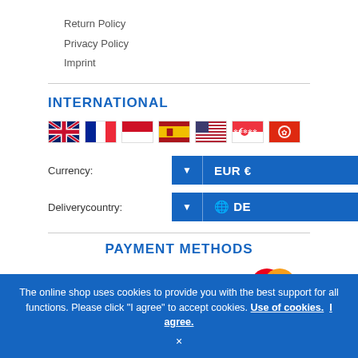Return Policy
Privacy Policy
Imprint
INTERNATIONAL
[Figure (illustration): Row of country flags: UK, France, Monaco, Spain, USA, Singapore, Hong Kong]
Currency: EUR €
Deliverycountry: DE
PAYMENT METHODS
[Figure (logo): Payment method logos: PREPAYMENT bank transfer, VISA, MasterCard]
The online shop uses cookies to provide you with the best support for all functions. Please click "I agree" to accept cookies. Use of cookies. I agree. ×